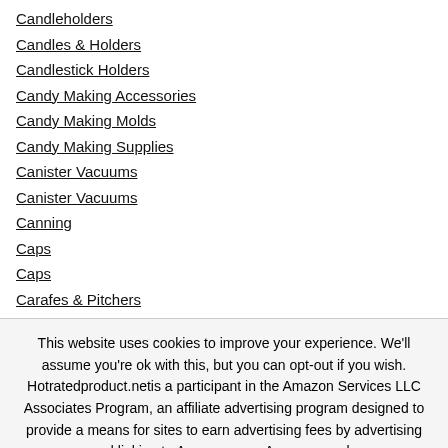Candleholders
Candles & Holders
Candlestick Holders
Candy Making Accessories
Candy Making Molds
Candy Making Supplies
Canister Vacuums
Canister Vacuums
Canning
Caps
Caps
Carafes & Pitchers
This website uses cookies to improve your experience. We'll assume you're ok with this, but you can opt-out if you wish. Hotratedproduct.net is a participant in the Amazon Services LLC Associates Program, an affiliate advertising program designed to provide a means for sites to earn advertising fees by advertising and linking to Amazon.com, Amazon.co.uk.
Accept  Read More